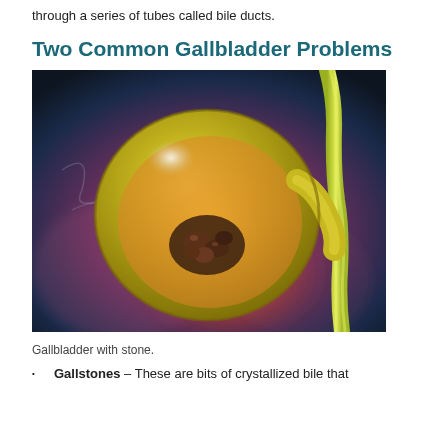through a series of tubes called bile ducts.
Two Common Gallbladder Problems
[Figure (photo): Medical illustration of a gallbladder with a gallstone inside, shown in cross-section with a yellow-green bile duct. The interior glows orange-red suggesting inflammation, with dark crystallized stones visible inside.]
Gallbladder with stone.
Gallstones – These are bits of crystallized bile that